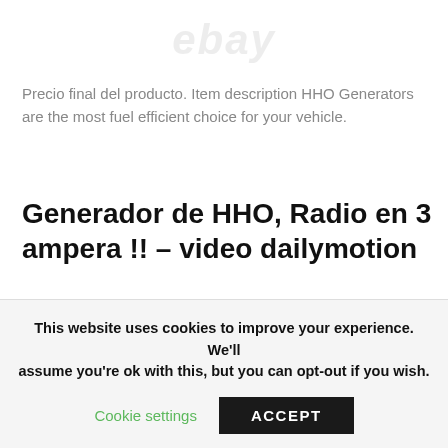[Figure (illustration): Faded/ghost watermark-style logo or image at top of page, mostly white/grey]
Precio final del producto. Item description HHO Generators are the most fuel efficient choice for your vehicle.
Generador de HHO, Radio en 3 ampera !! – video dailymotion
See terms – opens in a new window or tab. Add to watch list. Kindle Direct Publishing Publica tu libro en papel y
This website uses cookies to improve your experience. We'll assume you're ok with this, but you can opt-out if you wish.
Cookie settings   ACCEPT